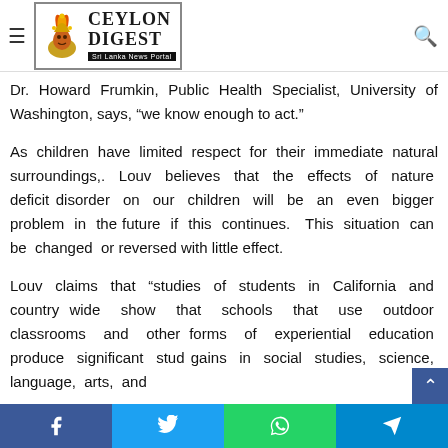Ceylon Digest — Sri Lanka News Portal
being in contact with nature.  It is believed that nature has a way to better define the influence of nature on human development. On the other hand
Dr. Howard Frumkin, Public Health Specialist, University of Washington, says, “we know enough to act.”
As children have limited respect for their immediate natural surroundings,. Louv believes that the effects of nature deficit disorder on our children will be an even bigger problem in the future if this continues.  This situation can be changed or reversed with little effect.
Louv claims that “studies of students in California and country wide show that schools that use outdoor classrooms and other forms of experiential education produce significant student gains in social studies, science, language arts, and
Facebook  Twitter  WhatsApp  Telegram